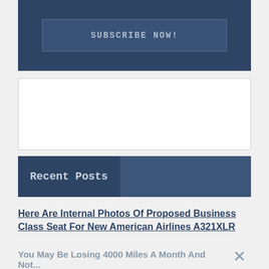[Figure (screenshot): Dark navy blue subscribe block with 'SUBSCRIBE NOW!' button]
[Figure (screenshot): White/empty advertisement box]
Recent Posts
Here Are Internal Photos Of Proposed Business Class Seat For New American Airlines A321XLR
You May Be Losing 4000 Miles A Month And Not...